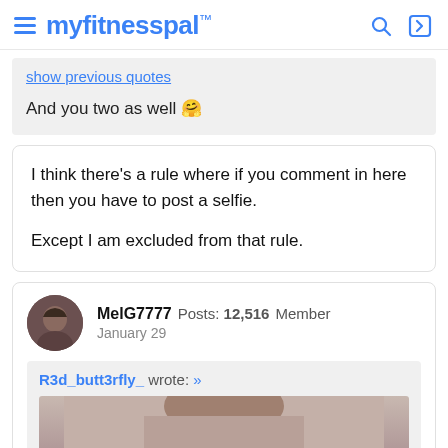myfitnesspal
show previous quotes
And you two as well 🤗
I think there's a rule where if you comment in here then you have to post a selfie.

Except I am excluded from that rule.
MelG7777 Posts: 12,516 Member
January 29
R3d_butt3rfly_ wrote: »